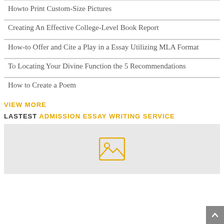Howto Print Custom-Size Pictures
Creating An Effective College-Level Book Report
How-to Offer and Cite a Play in a Essay Utilizing MLA Format
To Locating Your Divine Function the 5 Recommendations
How to Create a Poem
VIEW MORE
LASTEST ADMISSION ESSAY WRITING SERVICE
[Figure (illustration): Placeholder image box with a yellow image icon in the center]